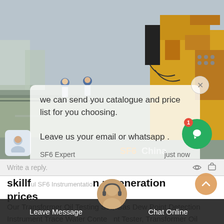[Figure (photo): Industrial scene with yellow machinery/truck and workers in blue hard hats in the background. Equipment visible on the right side.]
we can send you catalogue and price list for you choosing.
Leave us your email or whatsapp .
SF6 Expert    just now
Write a reply.
skillful SF6 Instrumentation regeneration prices
Our Transformer Oil Testing Set, Gas Dew Point Detection Instrument Trace Water Content Tester, Transformer Oil Tester such as Dielectric Strength Tester, Opacity and Loss Tester have the features with high quility. Best quality and factory price will
Leave Message
Chat Online